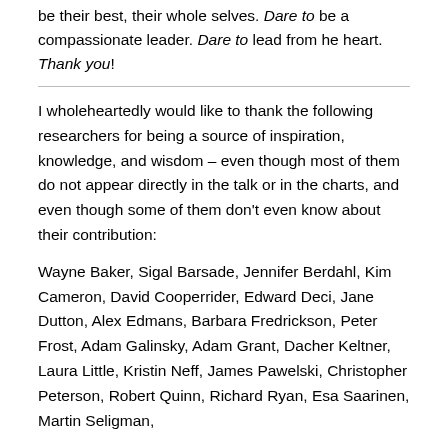be their best, their whole selves. Dare to be a compassionate leader. Dare to lead from he heart. Thank you!
I wholeheartedly would like to thank the following researchers for being a source of inspiration, knowledge, and wisdom – even though most of them do not appear directly in the talk or in the charts, and even though some of them don't even know about their contribution:
Wayne Baker, Sigal Barsade, Jennifer Berdahl, Kim Cameron, David Cooperrider, Edward Deci, Jane Dutton, Alex Edmans, Barbara Fredrickson, Peter Frost, Adam Galinsky, Adam Grant, Dacher Keltner, Laura Little, Kristin Neff, James Pawelski, Christopher Peterson, Robert Quinn, Richard Ryan, Esa Saarinen, Martin Seligman,